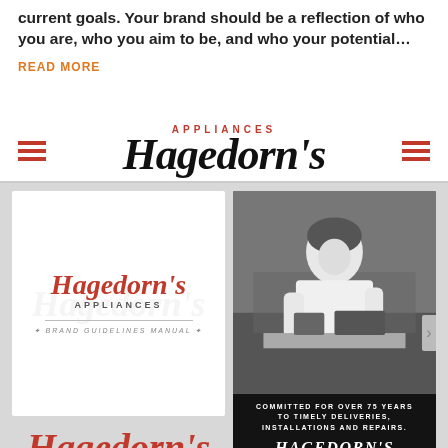current goals. Your brand should be a reflection of who you are, who you aim to be, and who your potential…
READ MORE
[Figure (logo): Hagedorn's Appliances logo in large script font with red hamburger menu icons on either side, on a white background navigation bar]
[Figure (illustration): Hagedorn's Appliances Brand Guidelines Manual cover — white card with Hagedorn's Appliances red script logo and 'BRAND GUIDELINES MANUAL' text]
[Figure (photo): Black and white photo of a man working at a desk, with overlay text 'COMMITTED FOR OVER 75 YEARS TO TIMELY DELIVERIES, INSTALLATIONS AND REPAIRS.' and Hagedorn's Appliances logo]
[Figure (logo): Hagedorn's Appliances logo in large red script with APPLIANCES in block letters below]